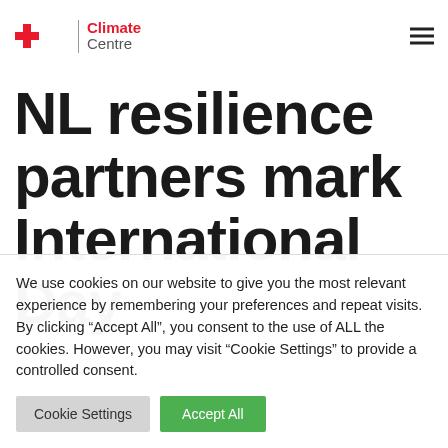[Figure (logo): Red Cross and Red Crescent logo with 'Climate Centre' text in red and grey]
NL resilience partners mark International Day for Dis...
We use cookies on our website to give you the most relevant experience by remembering your preferences and repeat visits. By clicking “Accept All”, you consent to the use of ALL the cookies. However, you may visit "Cookie Settings" to provide a controlled consent.
Cookie Settings | Accept All